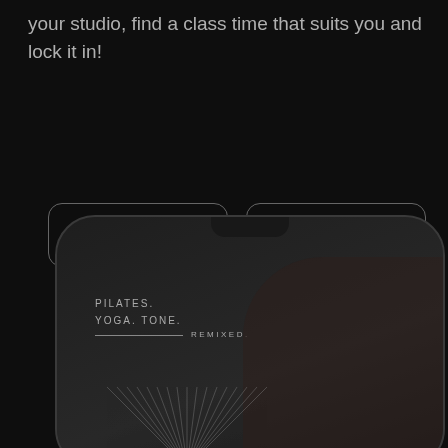your studio, find a class time that suits you and lock it in!
[Figure (screenshot): Two app store download buttons (App Store and Google play) on dark background, followed by a smartphone screenshot showing a fitness app with text 'PILATES. YOGA. TONE.' and 'REMIXED' alongside an image of a person exercising.]